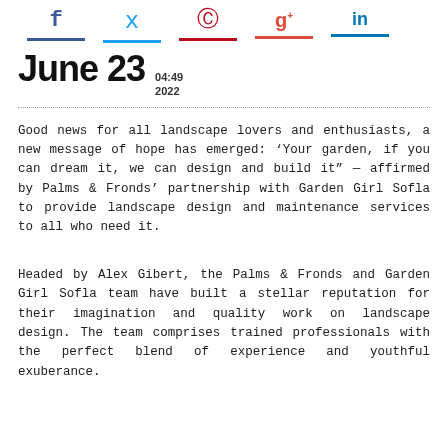[Figure (infographic): Social media sharing icons: Facebook (f), Twitter (bird), Pinterest (P), Google+ (g+), LinkedIn (in), each with a colored underline bar matching their brand color.]
June 23  04:49  2022
Good news for all landscape lovers and enthusiasts, a new message of hope has emerged: ‘Your garden, if you can dream it, we can design and build it” — affirmed by Palms & Fronds’ partnership with Garden Girl Sofla to provide landscape design and maintenance services to all who need it.
Headed by Alex Gibert, the Palms & Fronds and Garden Girl Sofla team have built a stellar reputation for their imagination and quality work on landscape design. The team comprises trained professionals with the perfect blend of experience and youthful exuberance.